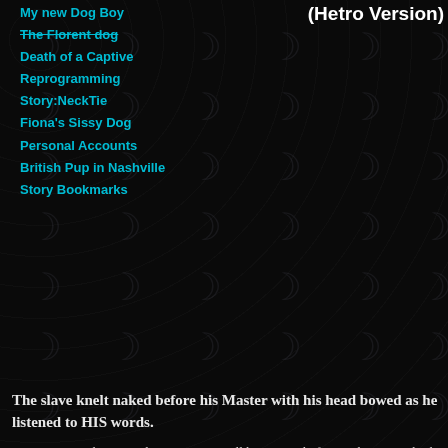(Hetro Version)
My new Dog Boy
The Florent dog
Death of a Captive
Reprogramming
Story:NeckTie
Fiona's Sissy Dog
Personal Accounts
British Pup in Nashville
Story Bookmarks
The slave knelt naked before his Master with his head bowed as he listened to HIS words.
"Your training begins today, cunt. You will be stripped of everything you think you are and everything you've learned. You will be reduced to nothing more than an animal until I deem you worthy of rising above that station. Since I do not wish to have to groom my animal, your hair will be shaved from your head. I know you place a lot of pride in that mane of yours; it is part of who you think you are but no longer! Does the cunt understand